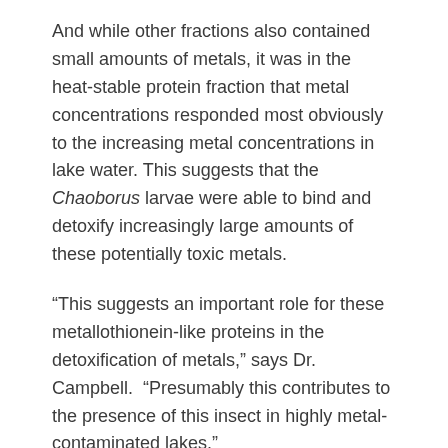And while other fractions also contained small amounts of metals, it was in the heat-stable protein fraction that metal concentrations responded most obviously to the increasing metal concentrations in lake water. This suggests that the Chaoborus larvae were able to bind and detoxify increasingly large amounts of these potentially toxic metals.
“This suggests an important role for these metallothionein-like proteins in the detoxification of metals,” says Dr. Campbell.  “Presumably this contributes to the presence of this insect in highly metal-contaminated lakes.”
While laboratory studies usually focus on the effects of exposure to a single trace metal (usually dissolved in the water), animals in this study were exposed in the field to many trace metals both in the water and in their planktonic food. The researchers suggest that